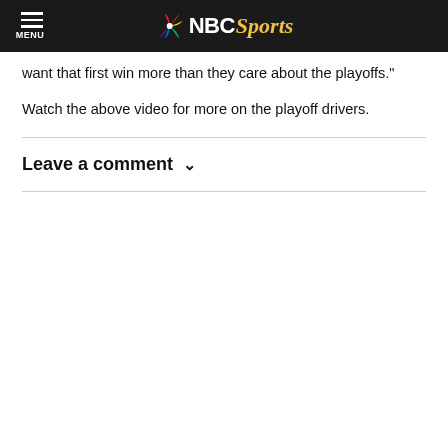MENU | NBC Sports
want that first win more than they care about the playoffs."
Watch the above video for more on the playoff drivers.
Leave a comment